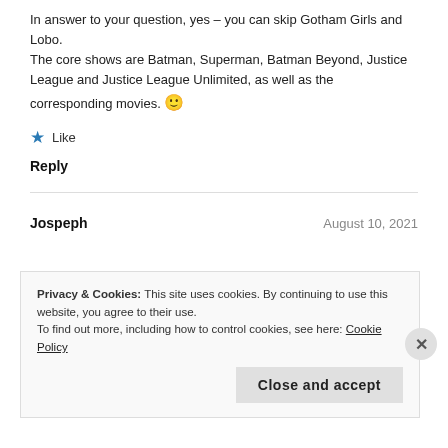In answer to your question, yes – you can skip Gotham Girls and Lobo.
The core shows are Batman, Superman, Batman Beyond, Justice League and Justice League Unlimited, as well as the corresponding movies. 🙂
★ Like
Reply
Jospeph   August 10, 2021
Privacy & Cookies: This site uses cookies. By continuing to use this website, you agree to their use.
To find out more, including how to control cookies, see here: Cookie Policy
Close and accept